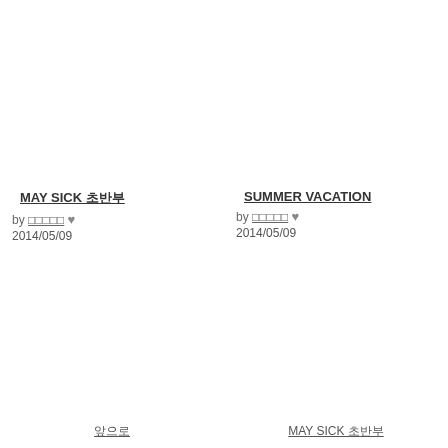MAY SICK 초반부
by □□□□□ ♥
2014/05/09
SUMMER VACATION
by □□□□□ ♥
2014/05/09
앞으로
MAY SICK 초반부